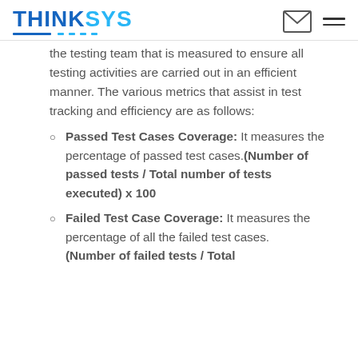THINKSYS
the testing team that is measured to ensure all testing activities are carried out in an efficient manner. The various metrics that assist in test tracking and efficiency are as follows:
Passed Test Cases Coverage: It measures the percentage of passed test cases.(Number of passed tests / Total number of tests executed) x 100
Failed Test Case Coverage: It measures the percentage of all the failed test cases. (Number of failed tests / Total